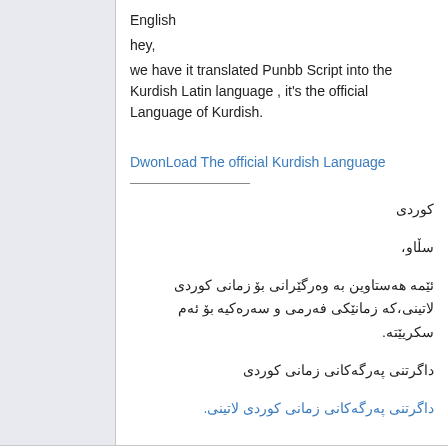English
hey,
we have it translated Punbb Script into the Kurdish Latin language , it's the official Language of Kurdish.
DwonLoad The official Kurdish Language
کوردی
سڵاو،
ئێمه هەستاوین به وەرگێرانی بۆ زمانی کوردی لاتینی،که زمانێکی فەرمی و سەرەکیه بۆ ئەم سکریێته.
داگرتنی پەرگەکانی زمانی کوردی
داگرتنی پەرگەکانی زمانی کوردی لاتینی.
petebaldwin
2009-09-14 02:09
2
Re: The Official Kurdish Latin L...